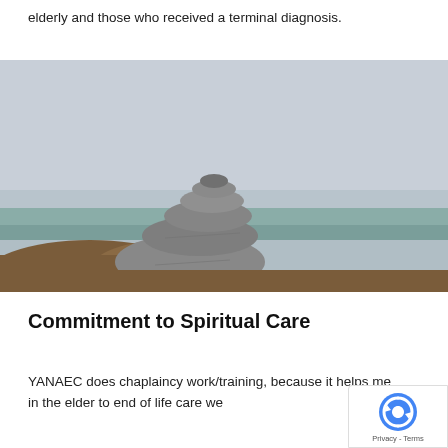elderly and those who received a terminal diagnosis.
[Figure (photo): Stacked balancing stones (cairn) on a rocky surface near the ocean, with a grey overcast sky in the background.]
Commitment to Spiritual Care
YANAEC does chaplaincy work/training, because it helps me in the elder to end of life care we